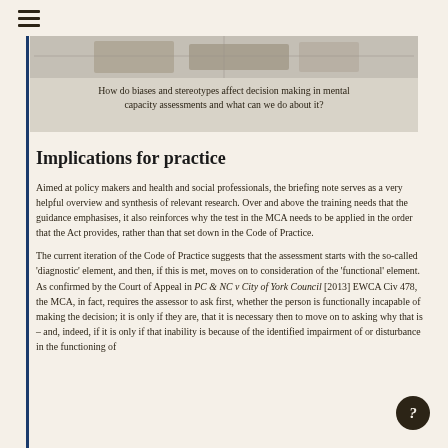☰
[Figure (photo): Blurred/faded photographic image at top of content block]
How do biases and stereotypes affect decision making in mental capacity assessments and what can we do about it?
Implications for practice
Aimed at policy makers and health and social professionals, the briefing note serves as a very helpful overview and synthesis of relevant research. Over and above the training needs that the guidance emphasises, it also reinforces why the test in the MCA needs to be applied in the order that the Act provides, rather than that set down in the Code of Practice.
The current iteration of the Code of Practice suggests that the assessment starts with the so-called 'diagnostic' element, and then, if this is met, moves on to consideration of the 'functional' element. As confirmed by the Court of Appeal in PC & NC v City of York Council [2013] EWCA Civ 478, the MCA, in fact, requires the assessor to ask first, whether the person is functionally incapable of making the decision; it is only if they are, that it is necessary then to move on to asking why that is – and, indeed, if it is only if that inability is because of the identified impairment of or disturbance in the functioning of